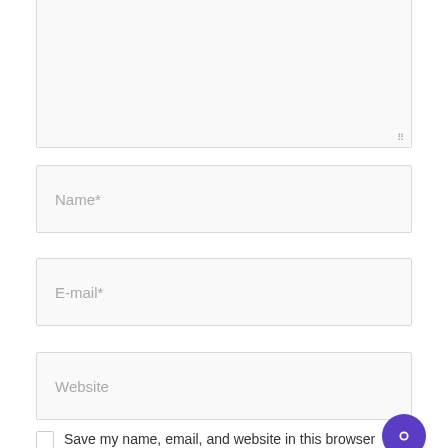[Figure (screenshot): Empty textarea input box with resize handle at bottom-right corner, light gray background with border]
Name*
E-mail*
Website
Save my name, email, and website in this browser
[Figure (illustration): Purple circular chat button with chat icon in bottom-right corner]